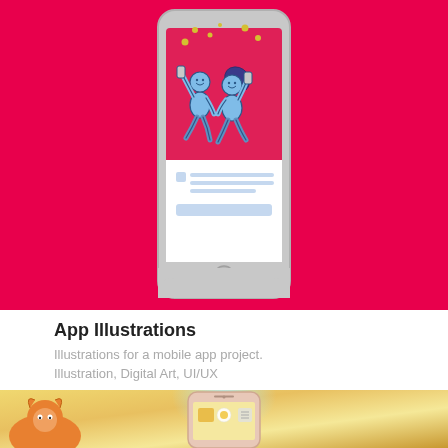[Figure (screenshot): Mobile app screenshot mockup on a pink/red background showing two illustrated characters (a man and a woman) doing a high-five/celebration gesture with confetti dots, displayed on an iPhone screen. The lower portion of the phone screen shows placeholder content with light blue lines and a button area.]
App Illustrations
Illustrations for a mobile app project.
Illustration, Digital Art, UI/UX
[Figure (screenshot): Partial view of a second portfolio item showing an iPhone mockup on a warm golden/yellow background with a glowing blue-white aura around the phone. A cartoon animal character (orange, possibly a fox or bear) is visible on the left edge. The phone screen shows app icons.]